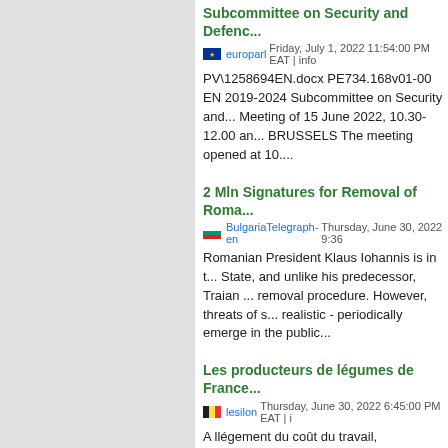Subcommittee on Security and Defence
europarl Friday, July 1, 2022 11:54:00 PM EAT | info
PV\1258694EN.docx PE734.168v01-00 EN 2019-2024 Subcommittee on Security and... Meeting of 15 June 2022, 10.30-12.00 and... BRUSSELS The meeting opened at 10....
2 Mln Signatures for Removal of Roma...
BulgariaTelegraph-en Thursday, June 30, 2022 9:36
Romanian President Klaus Iohannis is in t... State, and unlike his predecessor, Traian ... removal procedure. However, threats of s... realistic - periodically emerge in the public...
Les producteurs de légumes de France...
lesilon Thursday, June 30, 2022 6:45:00 PM EAT | i
A llégement du coût du travail, indemnisa... réforme de la PAC Les producteurs de Lé... concrètes des pouvoirs publics. Vous tene... Lyon....
Inside the Balkans Two Million Signatu... the Initiative Succeed?
BulgariaTelegraph-en Thursday, June 30, 2022 5:55
Romanian President Klaus Iohannis is in t... State, and unlike his predecessor, Traian ... removal procedure. However, threats of s...